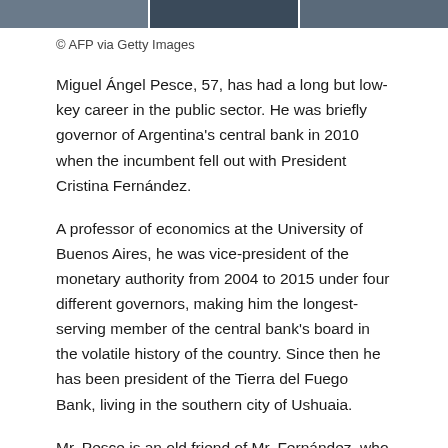[Figure (photo): Photo strip showing partial images of person(s), appearing as a cropped banner at the top of the page]
© AFP via Getty Images
Miguel Ángel Pesce, 57, has had a long but low-key career in the public sector. He was briefly governor of Argentina's central bank in 2010 when the incumbent fell out with President Cristina Fernández.
A professor of economics at the University of Buenos Aires, he was vice-president of the monetary authority from 2004 to 2015 under four different governors, making him the longest-serving member of the central bank's board in the volatile history of the country. Since then he has been president of the Tierra del Fuego Bank, living in the southern city of Ushuaia.
Mr. Pesce is an old friend of Mr. Fernández, who dates back to his time as the financial secretary of the city of Buenos Aires, when the elected president was a Peronist legislator of the city. When Mr. Fernández then became chief of staff to Néstor Kirchner in 2003, he appointed Mr. Pesce to various positions in the public sector before